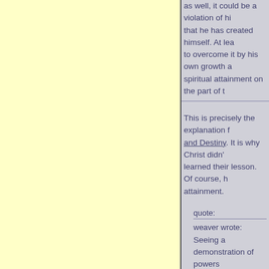as well, it could be a violation of his... that he has created himself. At lea... to overcome it by his own growth a... spiritual attainment on the part of t...
This is precisely the explanation [book title: and Destiny]. It is why Christ didn'... learned their lesson. Of course, h... attainment.
quote:
weaver wrote:
Seeing a demonstration of powers... demonstrator on a pedestal, like th... impede their own spiritual develop...
More likely on a cross.
quote:
weaver wrote:
Along with the view that we in ess... believe that a large part of what ou... including our physical body, emoti... an illness, and it's the outpicturing... deep seated in the subconscious...